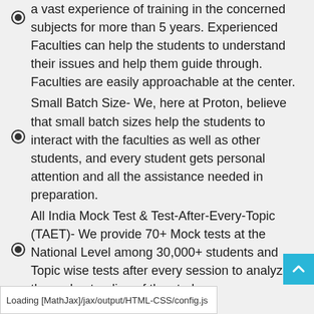a vast experience of training in the concerned subjects for more than 5 years. Experienced Faculties can help the students to understand their issues and help them guide through. Faculties are easily approachable at the center.
Small Batch Size- We, here at Proton, believe that small batch sizes help the students to interact with the faculties as well as other students, and every student gets personal attention and all the assistance needed in preparation.
All India Mock Test & Test-After-Every-Topic (TAET)- We provide 70+ Mock tests at the National Level among 30,000+ students and Topic wise tests after every session to analyze the understanding of the stude
ovide 20+ books,
Loading [MathJax]/jax/output/HTML-CSS/config.js